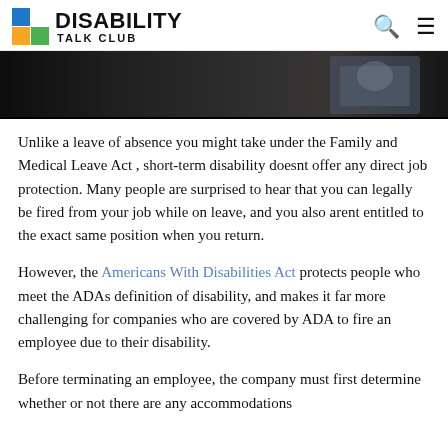DISABILITY TALK CLUB
[Figure (photo): Partial photo of a person in professional attire, cropped at top of page]
Unlike a leave of absence you might take under the Family and Medical Leave Act , short-term disability doesnt offer any direct job protection. Many people are surprised to hear that you can legally be fired from your job while on leave, and you also arent entitled to the exact same position when you return.
However, the Americans With Disabilities Act protects people who meet the ADAs definition of disability, and makes it far more challenging for companies who are covered by ADA to fire an employee due to their disability.
Before terminating an employee, the company must first determine whether or not there are any accommodations